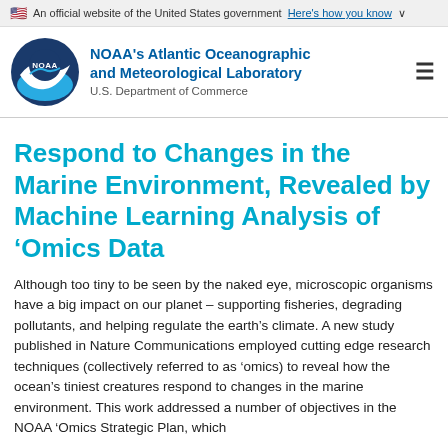An official website of the United States government Here's how you know
[Figure (logo): NOAA logo — circular blue emblem with 'NOAA' text and a stylized bird/wave design]
NOAA's Atlantic Oceanographic and Meteorological Laboratory U.S. Department of Commerce
Respond to Changes in the Marine Environment, Revealed by Machine Learning Analysis of ‘Omics Data
Although too tiny to be seen by the naked eye, microscopic organisms have a big impact on our planet – supporting fisheries, degrading pollutants, and helping regulate the earth’s climate. A new study published in Nature Communications employed cutting edge research techniques (collectively referred to as ‘omics) to reveal how the ocean’s tiniest creatures respond to changes in the marine environment. This work addressed a number of objectives in the NOAA ‘Omics Strategic Plan, which